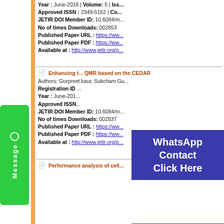Year : June-2018 | Volume: 5 | Iss...
Approved ISSN : 2349-5162 | Co...
JETIR DOI Member ID: 10.6084/m...
No of times Downloads: 002853
Published Paper URL : https://ww...
Published Paper PDF : https://ww...
Available at : http://www.jetir.org/p...
[Figure (other): WhatsApp Contact Click Here overlay button (blue background, white text)]
Enhancing t... QMR based on the CEDAR
Authors: Gurpreet kaur, Sukcham Gu...
Registration ID ...
Year : June-201...
Approved ISSN...
JETIR DOI Member ID: 10.6084/m...
No of times Downloads: 002837
Published Paper URL : https://ww...
Published Paper PDF : https://ww...
Available at : http://www.jetir.org/p...
[Figure (other): Contact Us Click Here overlay button (blue background, white text)]
Performance analysis of cell...